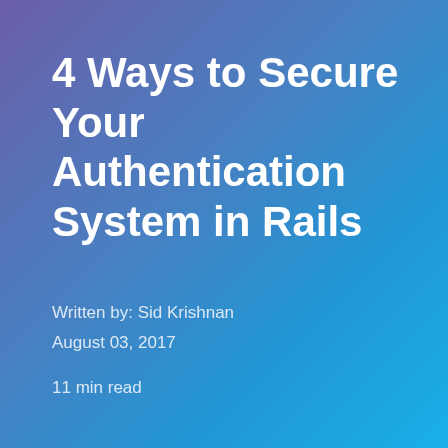4 Ways to Secure Your Authentication System in Rails
Written by: Sid Krishnan
August 03, 2017
11 min read